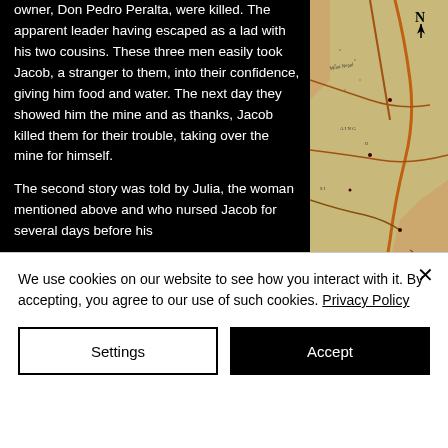owner, Don Pedro Peralta, were killed. The apparent leader having escaped as a lad with his two cousins. These three men easily took Jacob, a stranger to them, into their confidence, giving him food and water. The next day they showed him the mine and as thanks, Jacob killed them for their trouble, taking over the mine for himself.

The second story was told by Julia, the woman mentioned above and who nursed Jacob for several days before his
[Figure (map): Antique map with yellowed/brown tones showing geographical region with rivers, roads, place names, compass rose with N indicator, and decorative cartographic styling]
We use cookies on our website to see how you interact with it. By accepting, you agree to our use of such cookies. Privacy Policy
Settings
Accept